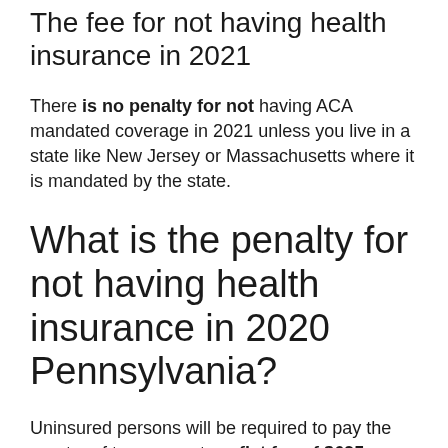The fee for not having health insurance in 2021
There is no penalty for not having ACA mandated coverage in 2021 unless you live in a state like New Jersey or Massachusetts where it is mandated by the state.
What is the penalty for not having health insurance in 2020 Pennsylvania?
Uninsured persons will be required to pay the greater of two amounts: a flat fee of $695 per adult plus $347.50 per child with a maximum of $2,085 per family, or 2.5% of family income in excess of 2015 income tax filing thresholds ($10,300 per person...